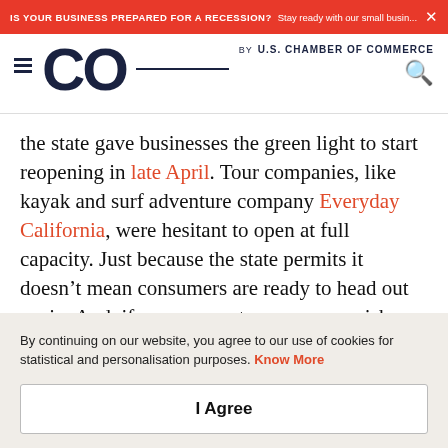IS YOUR BUSINESS PREPARED FOR A RECESSION? Stay ready with our small busin...
CO by U.S. CHAMBER OF COMMERCE
the state gave businesses the green light to start reopening in late April. Tour companies, like kayak and surf adventure company Everyday California, were hesitant to open at full capacity. Just because the state permits it doesn't mean consumers are ready to head out again. And, if you reopen too soon, you risk dedicating
By continuing on our website, you agree to our use of cookies for statistical and personalisation purposes. Know More
I Agree